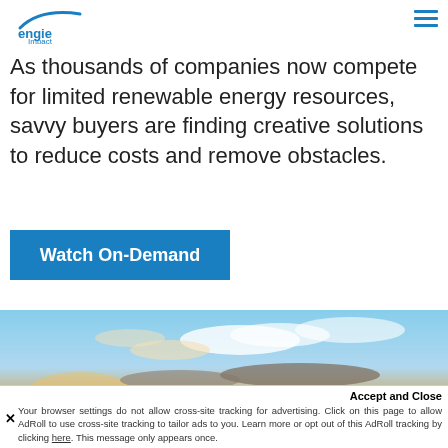[Figure (logo): ENGIE Impact logo with blue arc and blue text 'engie Impact']
As thousands of companies now compete for limited renewable energy resources, savvy buyers are finding creative solutions to reduce costs and remove obstacles.
Watch On-Demand
[Figure (photo): Sky with clouds at sunset, blue sky with orange-tinted clouds near horizon]
Accept and Close
Your browser settings do not allow cross-site tracking for advertising. Click on this page to allow AdRoll to use cross-site tracking to tailor ads to you. Learn more or opt out of this AdRoll tracking by clicking here. This message only appears once.